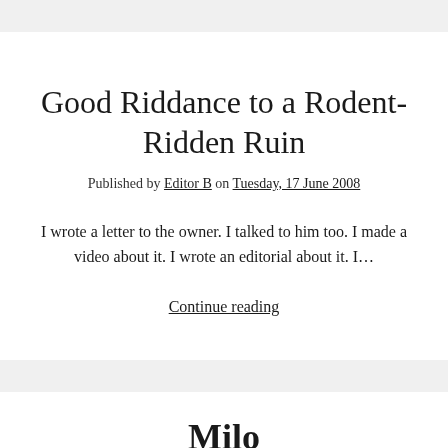Good Riddance to a Rodent-Ridden Ruin
Published by Editor B on Tuesday, 17 June 2008
I wrote a letter to the owner. I talked to him too. I made a video about it. I wrote an editorial about it. I…
Continue reading
Milo
Published by Editor B on Monday, 16 June 2008